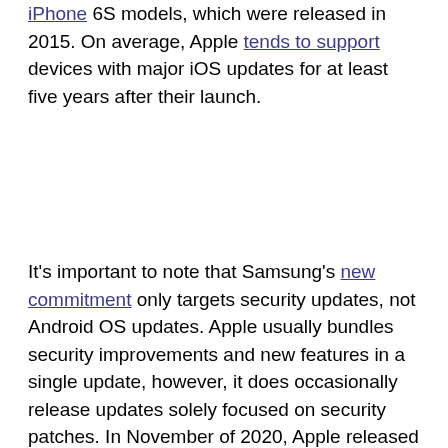iPhone 6S models, which were released in 2015. On average, Apple tends to support devices with major iOS updates for at least five years after their launch.
It's important to note that Samsung's new commitment only targets security updates, not Android OS updates. Apple usually bundles security improvements and new features in a single update, however, it does occasionally release updates solely focused on security patches. In November of 2020, Apple released an update focused on patching major security issues for devices as old as the iPhone 5S, released in 2013.
Samsung's new four-year promise for security updates will only apply to devices launched after 2019. Any devices launched before then are still under Samsung's old policy. Samsung previously provided updates for its devices for at least two years after it initially launched, so the new announcement effectively doubled the coverage.